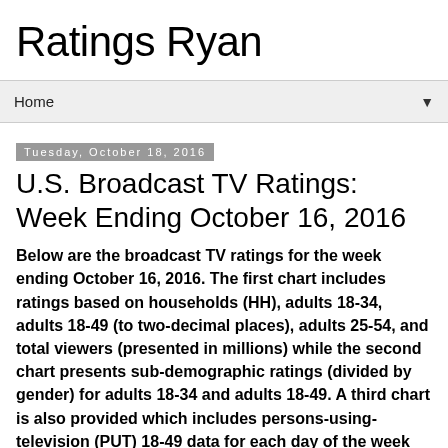Ratings Ryan
Home
Tuesday, October 18, 2016
U.S. Broadcast TV Ratings: Week Ending October 16, 2016
Below are the broadcast TV ratings for the week ending October 16, 2016. The first chart includes ratings based on households (HH), adults 18-34, adults 18-49 (to two-decimal places), adults 25-54, and total viewers (presented in millions) while the second chart presents sub-demographic ratings (divided by gender) for adults 18-34 and adults 18-49. A third chart is also provided which includes persons-using-television (PUT) 18-49 data for each day of the week (except Saturdays). Note: most reruns are excluded from the chart below.